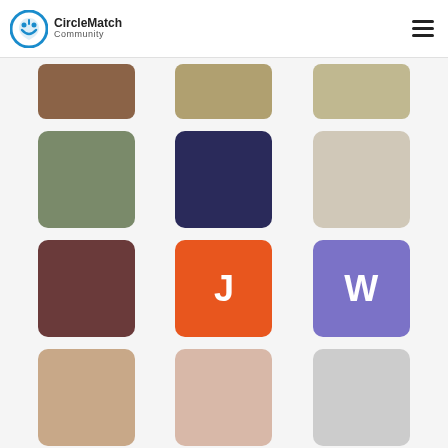[Figure (screenshot): CircleMatch Community app screen showing a grid of user profile avatars — photos and letter avatars (J orange, W purple, Kh green, K green, F pink, S green) in a 3-column layout with a header logo and hamburger menu.]